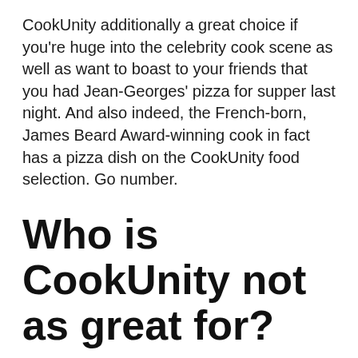CookUnity additionally a great choice if you're huge into the celebrity cook scene as well as want to boast to your friends that you had Jean-Georges' pizza for supper last night. And also indeed, the French-born, James Beard Award-winning cook in fact has a pizza dish on the CookUnity food selection. Go number.
Who is CookUnity not as great for?
It's probably not a terrific choice for households since the parts aren't massive and things would certainly get expensive if you were getting for 3 or four people. It's